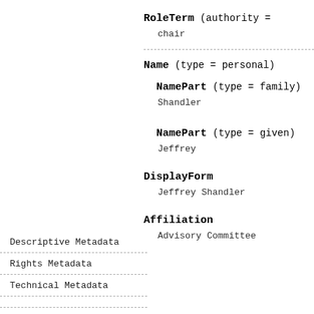RoleTerm (authority =
chair
Name (type = personal)
NamePart (type = family)
Shandler
NamePart (type = given)
Jeffrey
Descriptive Metadata
Rights Metadata
Technical Metadata
DisplayForm
Jeffrey Shandler
Affiliation
Advisory Committee